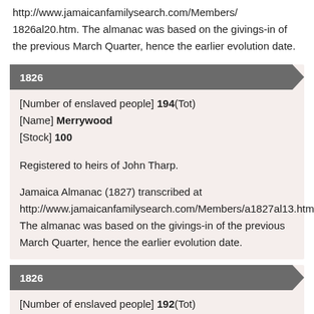http://www.jamaicanfamilysearch.com/Members/1826al20.htm. The almanac was based on the givings-in of the previous March Quarter, hence the earlier evolution date.
1826
[Number of enslaved people] 194(Tot)
[Name] Merrywood
[Stock] 100
Registered to heirs of John Tharp.
Jamaica Almanac (1827) transcribed at http://www.jamaicanfamilysearch.com/Members/a1827al13.htm. The almanac was based on the givings-in of the previous March Quarter, hence the earlier evolution date.
1826
[Number of enslaved people] 192(Tot)